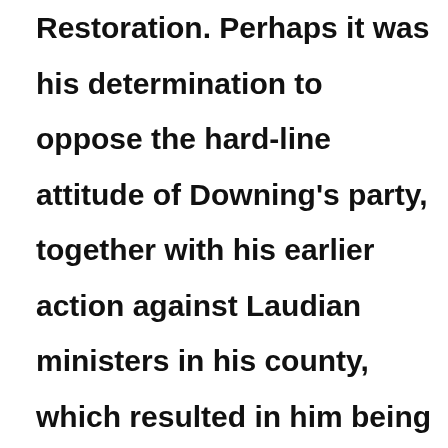Restoration. Perhaps it was his determination to oppose the hard-line attitude of Downing's party, together with his earlier action against Laudian ministers in his county, which resulted in him being branded as a fanatical hothead by his enemies after the Restoration, but it is difficult to